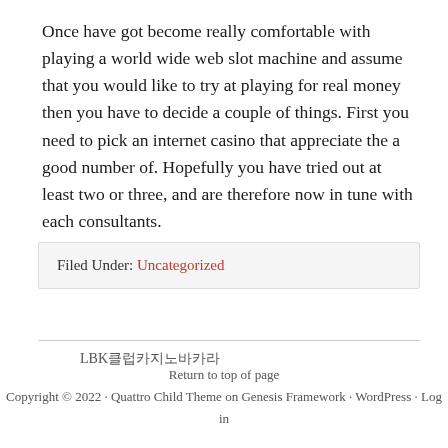Once have got become really comfortable with playing a world wide web slot machine and assume that you would like to try at playing for real money then you have to decide a couple of things. First you need to pick an internet casino that appreciate the a good number of. Hopefully you have tried out at least two or three, and are therefore now in tune with each consultants.
Filed Under: Uncategorized
LBK클럽카지노바카라
Return to top of page
Copyright © 2022 · Quattro Child Theme on Genesis Framework · WordPress · Log in